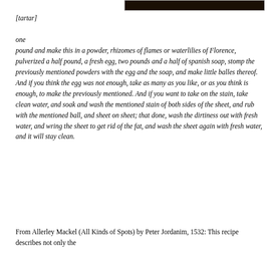[Figure (photo): Dark image, partially visible at top right of page]
[tartar]
one pound and make this in a powder, rhizomes of flames or waterlilies of Florence, pulverized a half pound, a fresh egg, two pounds and a half of spanish soap, stomp the previously mentioned powders with the egg and the soap, and make little balles thereof. And if you think the egg was not enough, take as many as you like, or as you think is enough, to make the previously mentioned. And if you want to take on the stain, take clean water, and soak and wash the mentioned stain of both sides of the sheet, and rub with the mentioned ball, and sheet on sheet; that done, wash the dirtiness out with fresh water, and wring the sheet to get rid of the fat, and wash the sheet again with fresh water, and it will stay clean.
From Allerley Mackel (All Kinds of Spots) by Peter Jordanim, 1532: This recipe describes not only the